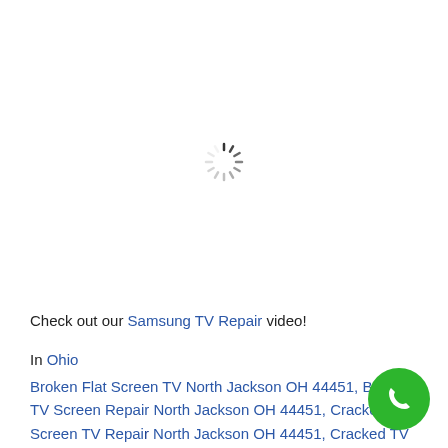[Figure (other): Loading spinner (animated circle of dashes) in the upper center of the page]
Check out our Samsung TV Repair video!
In Ohio
Broken Flat Screen TV North Jackson OH 44451, Broken TV Screen Repair North Jackson OH 44451, Cracked Flat Screen TV Repair North Jackson OH 44451, Cracked TV Screen Repair North Jackson OH 44451, Fix Flat Screen TV Crack North Jackson OH 44451, Fix Flat